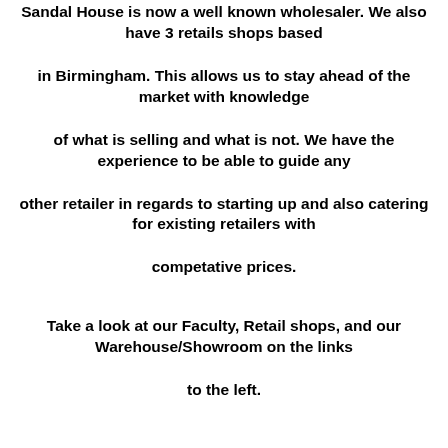Sandal House is now a well known wholesaler. We also have 3 retails shops based in Birmingham. This allows us to stay ahead of the market with knowledge of what is selling and what is not. We have the experience to be able to guide any other retailer in regards to starting up and also catering for existing retailers with competative prices. Take a look at our Faculty, Retail shops, and our Warehouse/Showroom on the links to the left.